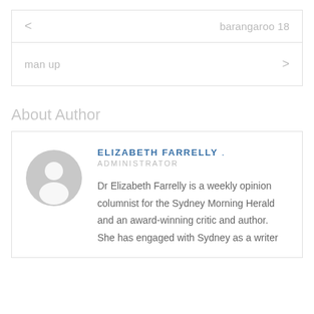< barangaroo 18
man up >
About Author
[Figure (illustration): Circular grey avatar icon with a person silhouette]
ELIZABETH FARRELLY . ADMINISTRATOR
Dr Elizabeth Farrelly is a weekly opinion columnist for the Sydney Morning Herald and an award-winning critic and author. She has engaged with Sydney as a writer